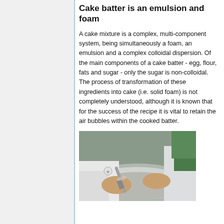Cake batter is an emulsion and foam
A cake mixture is a complex, multi-component system, being simultaneously a foam, an emulsion and a complex colloidal dispersion. Of the main components of a cake batter - egg, flour, fats and sugar - only the sugar is non-colloidal. The process of transformation of these ingredients into cake (i.e. solid foam) is not completely understood, although it is known that for the success of the recipe it is vital to retain the air bubbles within the cooked batter.
[Figure (photo): Person in white lab coat using a spatula or tool to scrape/mix batter in a round metal bowl, photographed from above at an angle.]